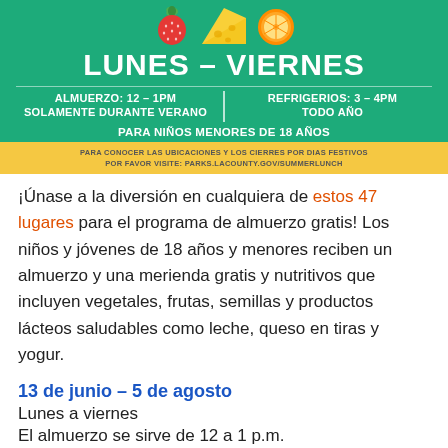[Figure (illustration): Colorful fruit icons (strawberry, cheese wedge, orange slice) on green banner background]
LUNES – VIERNES
ALMUERZO: 12 – 1PM
SOLAMENTE DURANTE VERANO
|
REFRIGERIOS: 3 – 4PM
TODO ANO
PARA NIÑOS MENORES DE 18 AÑOS
PARA CONOCER LAS UBICACIONES Y LOS CIERRES POR DIAS FESTIVOS POR FAVOR VISITE: PARKS.LACOUNTY.GOV/SUMMERLUNCH
¡Únase a la diversión en cualquiera de estos 47 lugares para el programa de almuerzo gratis! Los niños y jóvenes de 18 años y menores reciben un almuerzo y una merienda gratis y nutritivos que incluyen vegetales, frutas, semillas y productos lácteos saludables como leche, queso en tiras y yogur.
13 de junio – 5 de agosto
Lunes a viernes
El almuerzo se sirve de 12 a 1 p.m.